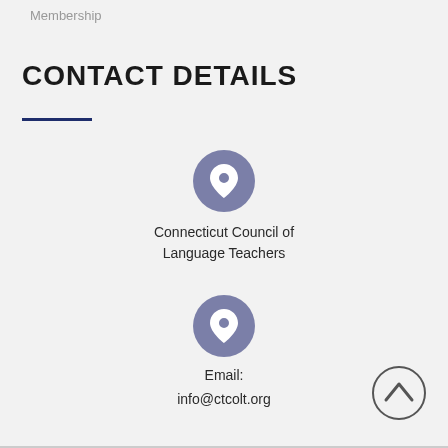Membership
CONTACT DETAILS
Connecticut Council of Language Teachers
Email:

info@ctcolt.org